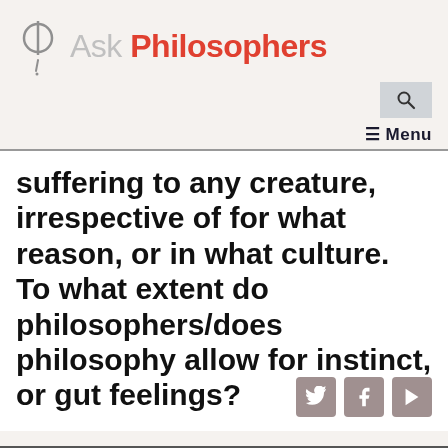[Figure (logo): Ask Philosophers logo with a phi symbol and exclamation mark icon]
Ask Philosophers
suffering to any creature, irrespective of for what reason, or in what culture. To what extent do philosophers/does philosophy allow for instinct, or gut feelings?